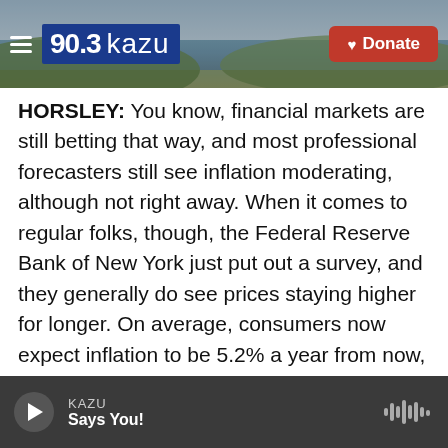[Figure (screenshot): KAZU 90.3 radio station header banner with landscape background photo, hamburger menu icon, 90.3 KAZU logo, and red Donate button]
HORSLEY: You know, financial markets are still betting that way, and most professional forecasters still see inflation moderating, although not right away. When it comes to regular folks, though, the Federal Reserve Bank of New York just put out a survey, and they generally do see prices staying higher for longer. On average, consumers now expect inflation to be 5.2% a year from now, so only a little bit lower than it was in June and July. And three years from now, consumers think inflation will still be 4%, which would be double the Federal Reserve's long-term target. The Fed does keep an
KAZU  Says You!